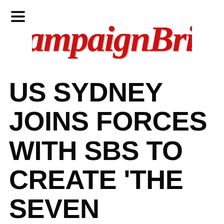[Figure (logo): CampaignBrief logo in red cursive/script lettering]
US SYDNEY JOINS FORCES WITH SBS TO CREATE 'THE SEVEN BILLIONTH STORY' – PREMIERES TONIGHT